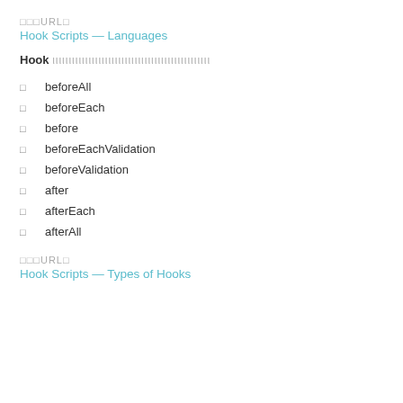🔗URL🔗
Hook Scripts — Languages
Hook スクリプトは次のいずれかのプログラミング言語を使用して記述できます。
beforeAll
beforeEach
before
beforeEachValidation
beforeValidation
after
afterEach
afterAll
🔗URL🔗
Hook Scripts — Types of Hooks